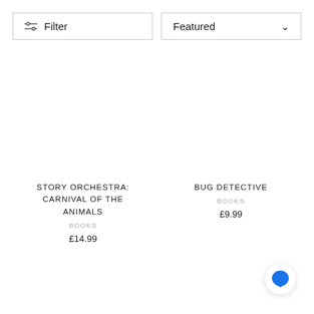Filter
Featured
STORY ORCHESTRA: CARNIVAL OF THE ANIMALS
BOOKS
£14.99
BUG DETECTIVE
BOOKS
£9.99
[Figure (illustration): Blue speech bubble chat button in bottom right corner]